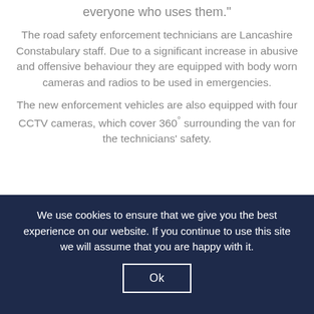everyone who uses them."
The road safety enforcement technicians are Lancashire Constabulary staff. Due to a significant increase in abusive and offensive behaviour they are equipped with body worn cameras and radios to be used in emergencies.
The new enforcement vehicles are also equipped with four CCTV cameras, which cover 360° surrounding the van for the technicians' safety.
We use cookies to ensure that we give you the best experience on our website. If you continue to use this site we will assume that you are happy with it.